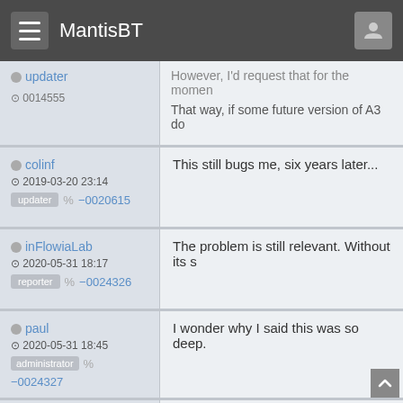MantisBT
updater  0014555  However, I'd request that for the momen  That way, if some future version of A3 do
colinf  2019-03-20 23:14  updater  -0020615  This still bugs me, six years later...
inFlowiaLab  2020-05-31 18:17  reporter  -0024326  The problem is still relevant. Without its s
paul  2020-05-31 18:45  administrator  -0024327  I wonder why I said this was so deep.
paul  Oh, I see why.